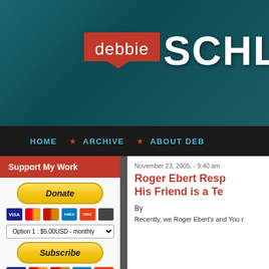[Figure (logo): Debbie Schlussel website logo on teal/dark header background. Red speech-bubble box with 'debbie' in white, followed by large bold white text 'SCHLUS' (truncated).]
HOME ★ ARCHIVE ★ ABOUT DEB
Support My Work
[Figure (other): PayPal Donate button (yellow pill-shaped), credit card icons (VISA, Mastercard x2, Amex, Discover, other), dropdown selector showing 'Option 1 : $5.00USD - monthly', PayPal Subscribe button (yellow pill-shaped), credit card icons again.]
November 23, 2005, - 9:40 am
Roger Ebert Resp His Friend is a Te
By
Recently, we Roger Ebert's and You r